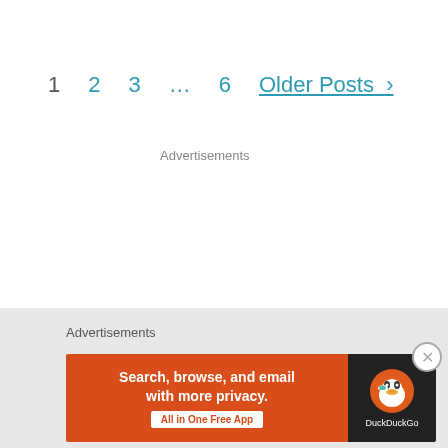1   2   3   ...   6   Older Posts  >
Advertisements
Advertisements
[Figure (infographic): DuckDuckGo advertisement banner: orange left panel with text 'Search, browse, and email with more privacy. All in One Free App' and dark right panel with DuckDuckGo duck logo and brand name.]